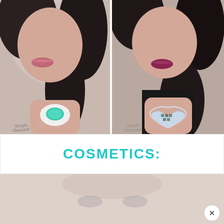[Figure (photo): Woman with dark hair holding up her hand showing a large turquoise oval ring surrounded by white heart-shaped stones. Watermark reads 'Simply Obsessed' on wrist.]
[Figure (photo): Woman with dark hair and deep rose/berry lip color holding up her hand showing a large heart-shaped crystal/diamond ring. Watermark reads 'Simply Obsessed' on wrist.]
COSMETICS:
[Figure (photo): Close-up partial photo of a woman's face, faded/lightened appearance, with a close button (X) in bottom right corner.]